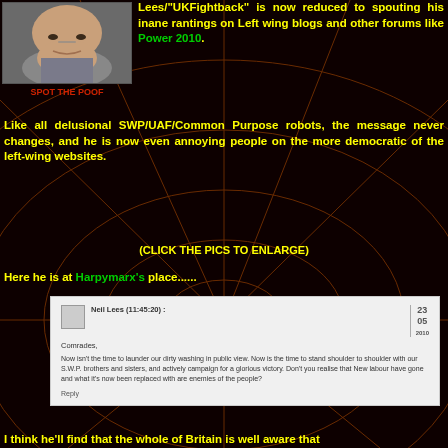[Figure (photo): Photo of a person's face/chin, close-up]
SPOT THE POOF
Lees/"UKFightback" is now reduced to spouting his inane rantings on Left wing blogs and other forums like Power 2010.
Like all delusional SWP/UAF/Common Purpose robots, the message never changes, and he is now even annoying people on the more democratic of the left-wing websites.
(CLICK THE PICS TO ENLARGE)
Here he is at Harpymarx's place......
[Figure (screenshot): Screenshot of a blog comment by Neil Lees (11:45:20) dated 23/05. Text: Comrades, Now isn't the time to launder our dirty washing in public view. Now is the time to stand shoulder to shoulder with our S.W.P. brothers and sisters, and actively campaign for a glorious victory. Don't you realise that New labour have gone and what it's now been replaced with are enemies of the people? Reply]
I think he'll find that the whole of Britain is well aware that